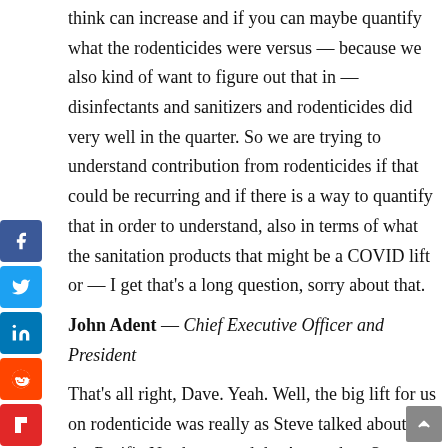think can increase and if you can maybe quantify what the rodenticides were versus — because we also kind of want to figure out that in — disinfectants and sanitizers and rodenticides did very well in the quarter. So we are trying to understand contribution from rodenticides if that could be recurring and if there is a way to quantify that in order to understand, also in terms of what the sanitation products that might be a COVID lift or — I get that's a long question, sorry about that.
John Adent — Chief Executive Officer and President
That's all right, Dave. Yeah. Well, the big lift for us on rodenticide was really as Steve talked about in the Pacific Northwest and the Ag market. So we had a really, there was a really strong outbreak kind of out